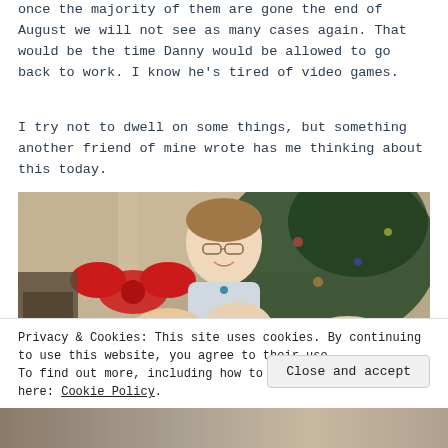once the majority of them are gone the end of August we will not see as many cases again. That would be the time Danny would be allowed to go back to work. I know he's tired of video games.
I try not to dwell on some things, but something another friend of mine wrote has me thinking about this today.
[Figure (photo): A photograph showing a young girl with glasses smiling, in front of a decorated Christmas tree with a large red bow visible on the left. Other children are partially visible in the foreground.]
Privacy & Cookies: This site uses cookies. By continuing to use this website, you agree to their use.
To find out more, including how to control cookies, see here: Cookie Policy
Close and accept